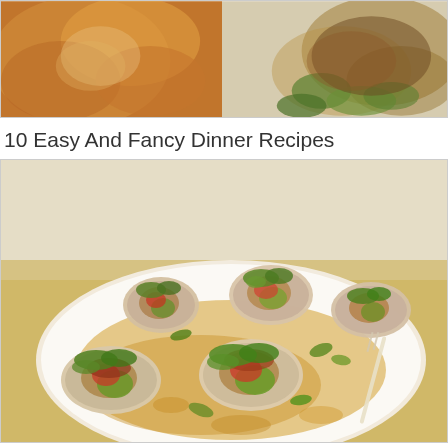[Figure (photo): Top collage of two food photos: left shows a baked/cheesy dish with golden orange tones, right shows meat with green herb garnish on dark background]
10 Easy And Fancy Dinner Recipes
[Figure (photo): Main food photo showing stuffed chicken rolls filled with sun-dried tomatoes, cheese and herbs, garnished with fresh arugula and herbs, served on a white plate with golden pan sauce and a fork]